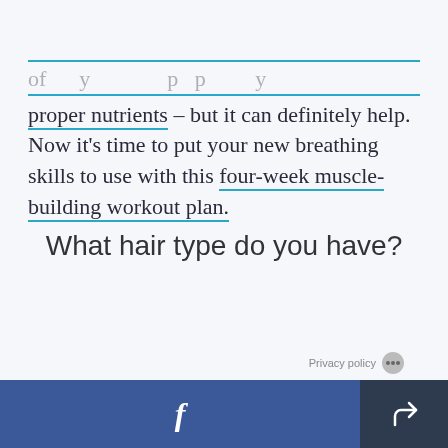proper nutrients – but it can definitely help. Now it's time to put your new breathing skills to use with this four-week muscle-building workout plan.
What hair type do you have?
Privacy policy | Facebook share | Share